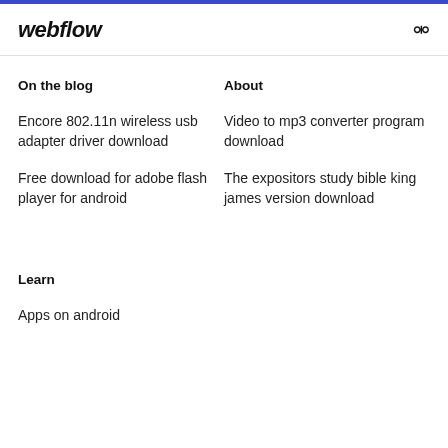webflow
On the blog
Encore 802.11n wireless usb adapter driver download
Free download for adobe flash player for android
About
Video to mp3 converter program download
The expositors study bible king james version download
Learn
Apps on android